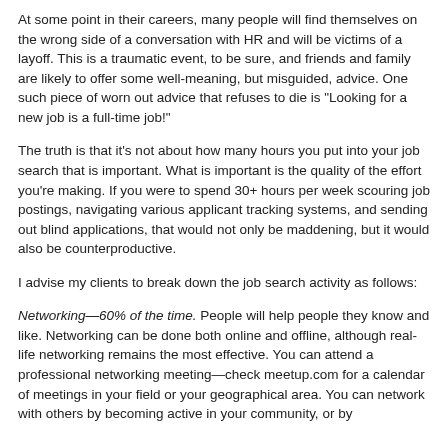At some point in their careers, many people will find themselves on the wrong side of a conversation with HR and will be victims of a layoff. This is a traumatic event, to be sure, and friends and family are likely to offer some well-meaning, but misguided, advice. One such piece of worn out advice that refuses to die is "Looking for a new job is a full-time job!"
The truth is that it's not about how many hours you put into your job search that is important. What is important is the quality of the effort you're making. If you were to spend 30+ hours per week scouring job postings, navigating various applicant tracking systems, and sending out blind applications, that would not only be maddening, but it would also be counterproductive.
I advise my clients to break down the job search activity as follows:
Networking—60% of the time. People will help people they know and like. Networking can be done both online and offline, although real-life networking remains the most effective. You can attend a professional networking meeting—check meetup.com for a calendar of meetings in your field or your geographical area. You can network with others by becoming active in your community, or by